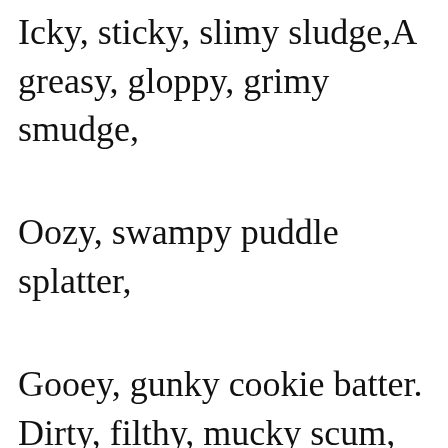Icky, sticky, slimy sludge,A greasy, gloppy, grimy smudge,
Oozy, swampy puddle splatter,
Gooey, gunky cookie batter.
Dirty, filthy, mucky scum,
Gluey, stringy, tacky gum,
Meat and sauce from sloppy joes —

Time, I guess, to change my clothes.